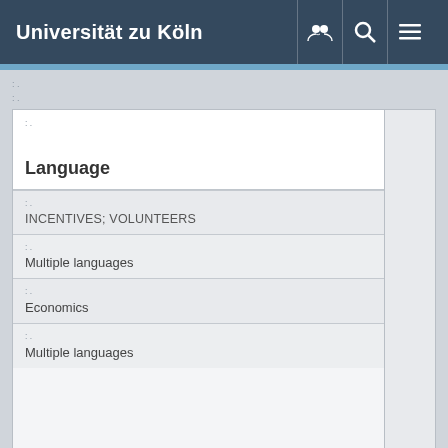Universität zu Köln
: .
Language
: .
INCENTIVES; VOLUNTEERS
: .
Multiple languages
: .
Economics
: .
Multiple languages
:
Refereed: